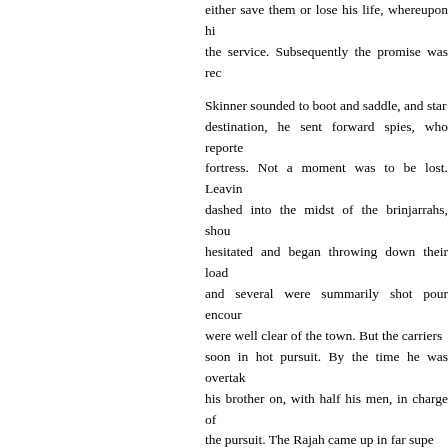either save them or lose his life, whereupon hi the service. Subsequently the promise was rec
Skinner sounded to boot and saddle, and star destination, he sent forward spies, who reporte fortress. Not a moment was to be lost. Leavin dashed into the midst of the brinjarrahs, shou hesitated and began throwing down their load and several were summarily shot pour encour were well clear of the town. But the carriers soon in hot pursuit. By the time he was overtak his brother on, with half his men, in charge of the pursuit. The Rajah came up in far supe emptied saddles, he held a parley and listened and he was in an awkward fix with the British entreating Skinner to make his peace with the have interposed too late. Lord Lake realised never forgetting. That was the first of many ex The welcome supplies enabled Lake to turn skirmishing and fighting, and Skinner was al prisoners. Some he released, with sarcastic m the open and had no provision but what they ground twice or thrice in the night to avoid su "In this pursuit I acquired great plunder in h satisfactory, "I felt the want of my dram;" for th the severe temperance prescribed for Europ commendation on him, presenting him with a himself useful in various ways, for the fame o lured many deserters from Scindiah to take se
The arrangements for the holiday forces